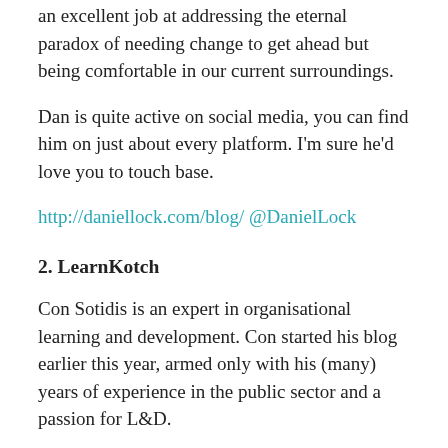an excellent job at addressing the eternal paradox of needing change to get ahead but being comfortable in our current surroundings.
Dan is quite active on social media, you can find him on just about every platform. I'm sure he'd love you to touch base.
http://daniellock.com/blog/ @DanielLock
2. LearnKotch
Con Sotidis is an expert in organisational learning and development. Con started his blog earlier this year, armed only with his (many) years of experience in the public sector and a passion for L&D.
Not all Con's posts are strictly L&D based (although